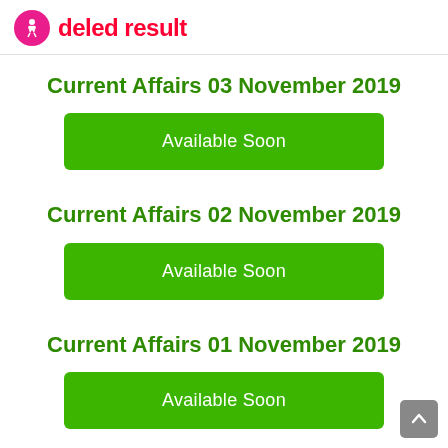deled result
Current Affairs 03 November 2019
Available Soon
Current Affairs 02 November 2019
Available Soon
Current Affairs 01 November 2019
Available Soon